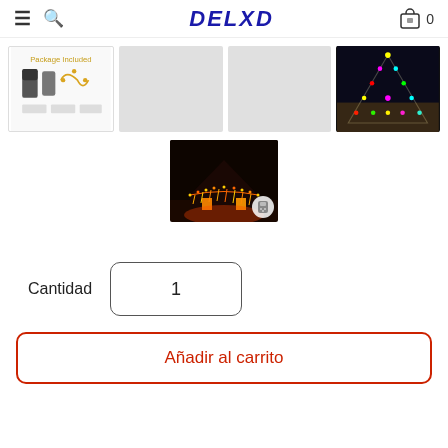DELXO — navigation header with hamburger menu, search icon, brand logo, cart icon, and cart count 0
[Figure (photo): Grid of 4 product thumbnail images: first shows package contents with remote controls and LED lights, second and third are gray placeholders, fourth shows colorful LED lights on a triangular structure]
[Figure (photo): Center product image showing a house decorated with warm orange/yellow icicle LED string lights at night, with a small remote control icon overlay]
Cantidad   1
Añadir al carrito